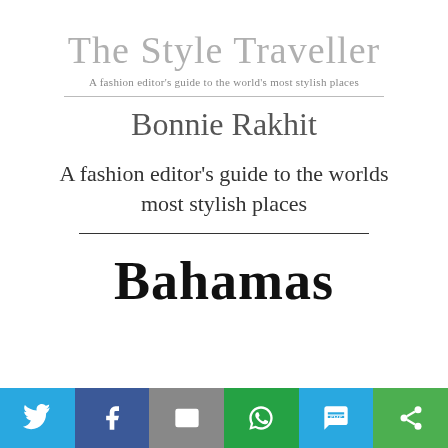The Style Traveller
A fashion editor's guide to the world's most stylish places
Bonnie Rakhit
A fashion editor's guide to the worlds most stylish places
Bahamas
[Figure (infographic): Social sharing bar with icons for Twitter, Facebook, Email, WhatsApp, SMS, and More (share)]